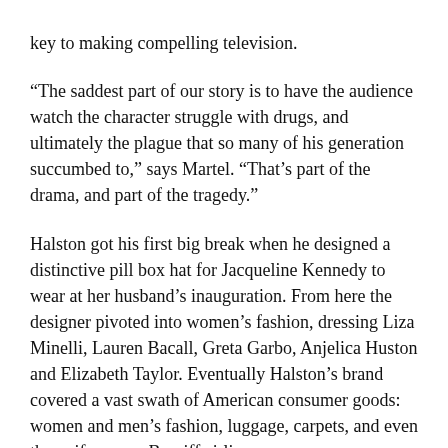key to making compelling television.
“The saddest part of our story is to have the audience watch the character struggle with drugs, and ultimately the plague that so many of his generation succumbed to,” says Martel. “That’s part of the drama, and part of the tragedy.”
Halston got his first big break when he designed a distinctive pill box hat for Jacqueline Kennedy to wear at her husband’s inauguration. From here the designer pivoted into women’s fashion, dressing Liza Minelli, Lauren Bacall, Greta Garbo, Anjelica Huston and Elizabeth Taylor. Eventually Halston’s brand covered a vast swath of American consumer goods: women and men’s fashion, luggage, carpets, and even the uniforms on Braniff airlines.